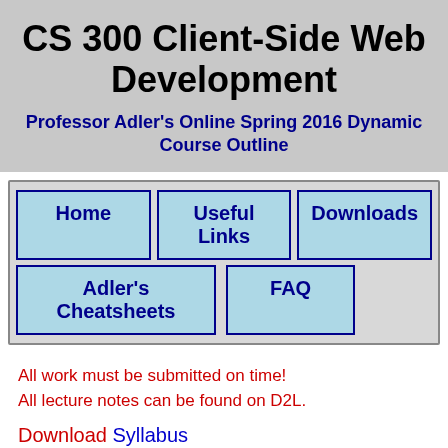CS 300 Client-Side Web Development
Professor Adler's Online Spring 2016 Dynamic Course Outline
Home | Useful Links | Downloads | Adler's Cheatsheets | FAQ
All work must be submitted on time!
All lecture notes can be found on D2L.
Download Syllabus